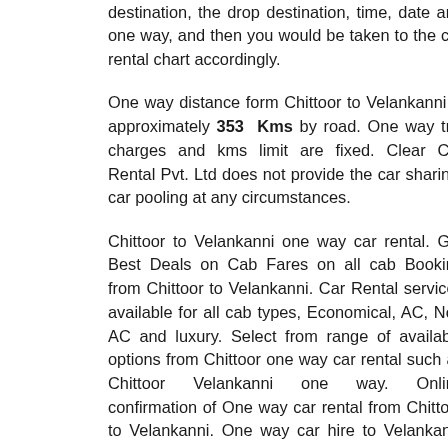destination, the drop destination, time, date and one way, and then you would be taken to the car rental chart accordingly.
One way distance form Chittoor to Velankanni is approximately 353 Kms by road. One way trip charges and kms limit are fixed. Clear Car Rental Pvt. Ltd does not provide the car sharing, car pooling at any circumstances.
Chittoor to Velankanni one way car rental. Get Best Deals on Cab Fares on all cab Booking from Chittoor to Velankanni. Car Rental services available for all cab types, Economical, AC, Non AC and luxury. Select from range of available options from Chittoor one way car rental such as Chittoor Velankanni one way. Online confirmation of One way car rental from Chittoor to Velankanni. One way car hire to Velankanni available online. Clear Car Rental Pvt. Ltd. provides cab with reliable service in economy